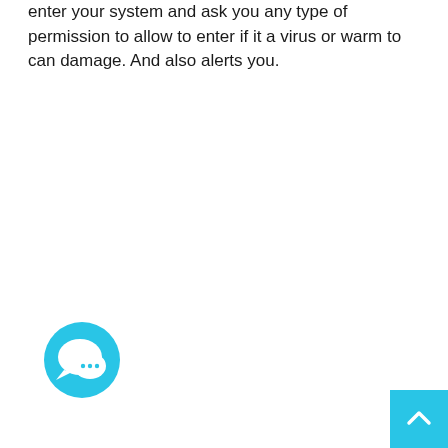enter your system and ask you any type of permission to allow to enter if it a virus or warm to can damage. And also alerts you.
[Figure (illustration): Circular blue chat/support icon with speech bubble and ellipsis (three dots) inside]
[Figure (other): Cyan/light-blue scroll-to-top button with upward chevron arrow in bottom-right corner]